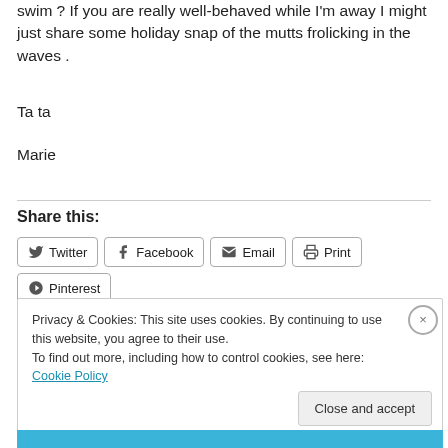swim ? If you are really well-behaved while I'm away I might just share some holiday snap of the mutts frolicking in the waves .
Ta ta
Marie
Share this:
Twitter  Facebook  Email  Print  Pinterest
Privacy & Cookies: This site uses cookies. By continuing to use this website, you agree to their use.
To find out more, including how to control cookies, see here: Cookie Policy